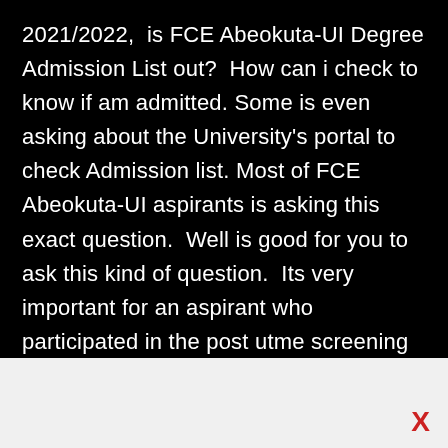2021/2022,  is FCE Abeokuta-UI Degree Admission List out?  How can i check to know if am admitted.  Some is even asking about the University's portal to check Admission list. Most of FCE Abeokuta-UI aspirants is asking this exact question.  Well is good for you to ask this kind of question.  Its very important for an aspirant who participated in the post utme screening and score very well to know when the Admission list is out!.